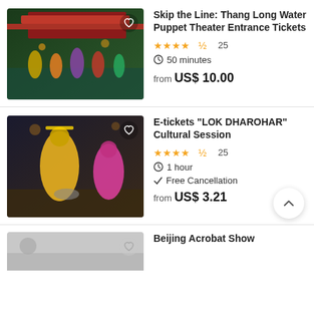[Figure (photo): Water puppet theater performance with colorful puppets on water, red temple structure in background]
Skip the Line: Thang Long Water Puppet Theater Entrance Tickets
★★★★½ 25
⏱ 50 minutes
from US$ 10.00
[Figure (photo): Indian classical dancers in colorful traditional attire performing on stage]
E-tickets "LOK DHAROHAR" Cultural Session
★★★★½ 25
⏱ 1 hour
✓ Free Cancellation
from US$ 3.21
[Figure (photo): Partial view of Beijing Acrobat Show listing image]
Beijing Acrobat Show